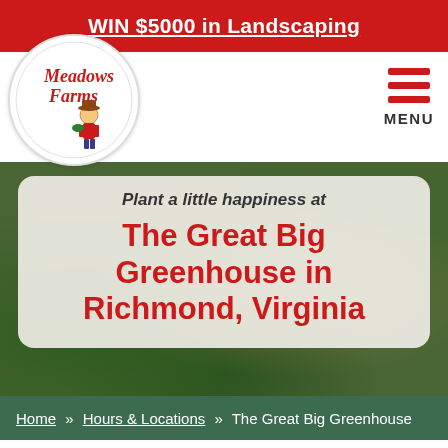WIN $5000 in Landscaping
[Figure (logo): Meadows Farms logo with cartoon farmer character in a circular white badge]
MENU
Plant a little happiness at The Great Big Greenhouse in Richmond, Virginia
Home » Hours & Locations » The Great Big Greenhouse